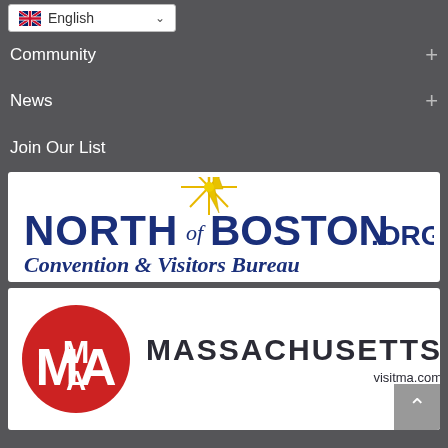[Figure (screenshot): Language selector dropdown showing UK flag and 'English' with chevron]
Community +
News +
Join Our List
[Figure (logo): North of Boston Convention & Visitors Bureau logo with gold starburst and dark blue text]
[Figure (logo): Massachusetts visitma.com logo with red circle MA monogram and MASSACHUSETTS text]